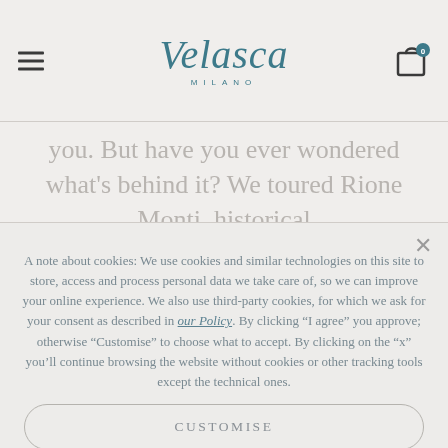Velasca Milano
you. But have you ever wondered what's behind it? We toured Rione Monti, historical
A note about cookies: We use cookies and similar technologies on this site to store, access and process personal data we take care of, so we can improve your online experience. We also use third-party cookies, for which we ask for your consent as described in our Policy. By clicking “I agree” you approve; otherwise “Customise” to choose what to accept. By clicking on the “x” you’ll continue browsing the website without cookies or other tracking tools except the technical ones.
CUSTOMISE
I AGREE